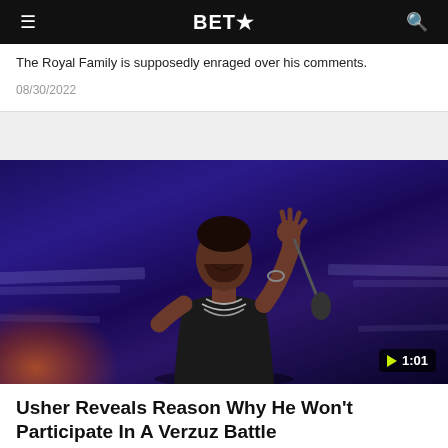BET★
The Royal Family is supposedly enraged over his comments.
08/30/2022
[Figure (photo): A male performer on stage smiling, wearing a black t-shirt and chain necklace, holding a microphone stand, with blue/purple stage lighting and orange glow from lower left. Video duration badge shows ▶ 1:01]
Usher Reveals Reason Why He Won't Participate In A Verzuz Battle